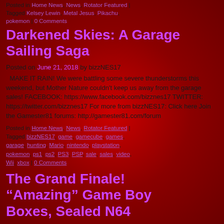Posted in Home News, News, Rotator Featured | Tagged Kelsey Lewin, Metal Jesus, Pikachu, pokemon | 0 Comments
Darkened Skies: A Garage Sailing Saga
Posted on June 21, 2018 by bizzNES17
MAKE IT RAIN! We were battling some severe thunderstorms this weekend, but Mother Nature couldn't keep us away from the garage sales! FACEBOOK: https://www.facebook.com/bizznes17 TWITTER: https://twitter.com/bizznes17 For more from bizzNES17: Click here Join the Gamester81 forums: http://gamester81.com/forum
Posted in Home News, News, Rotator Featured | Tagged bizzNES17, game, gamecube, games, garage, hunting, Mario, nintendo, playstation, pokemon, ps1, ps2, PS3, PSP, sale, sales, video, Wii, xbox | 0 Comments
The Grand Finale! “Amazing” Game Boy Boxes, Sealed N64
Posted on August 28, 2017 by bizzNES17
The largest and most expensive purchase I've